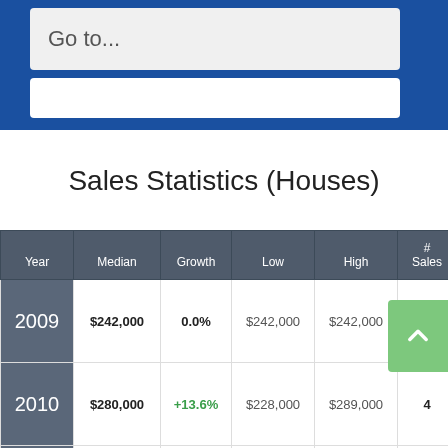Go to...
Sales Statistics (Houses)
| Year | Median | Growth | Low | High | # Sales |
| --- | --- | --- | --- | --- | --- |
| 2009 | $242,000 | 0.0% | $242,000 | $242,000 | 1 |
| 2010 | $280,000 | +13.6% | $228,000 | $289,000 | 4 |